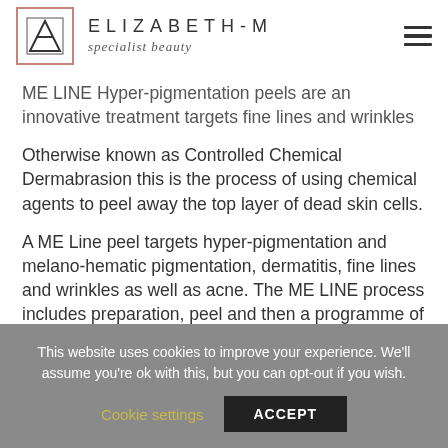ELIZABETH-M specialist beauty
ME LINE Hyper-pigmentation peels are an innovative treatment targets fine lines and wrinkles
Otherwise known as Controlled Chemical Dermabrasion this is the process of using chemical agents to peel away the top layer of dead skin cells.
A ME Line peel targets hyper-pigmentation and melano-hematic pigmentation, dermatitis, fine lines and wrinkles as well as acne. The ME LINE process includes preparation, peel and then a programme of aftercare at home with special products designed to designed to
This website uses cookies to improve your experience. We'll assume you're ok with this, but you can opt-out if you wish.
Cookie settings   ACCEPT